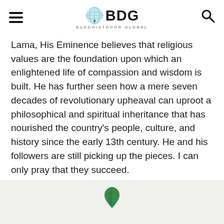BDG – Buddhistdoor Global
Lama, His Eminence believes that religious values are the foundation upon which an enlightened life of compassion and wisdom is built. He has further seen how a mere seven decades of revolutionary upheaval can uproot a philosophical and spiritual inheritance that has nourished the country's people, culture, and history since the early 13th century. He and his followers are still picking up the pieces. I can only pray that they succeed.
Tags: education, mongolia, Mongolian, mongolian buddhism, science, vajrayana, vajrayana buddhism
[Figure (logo): Buddhistdoor Global footer logo with green leaf icon]